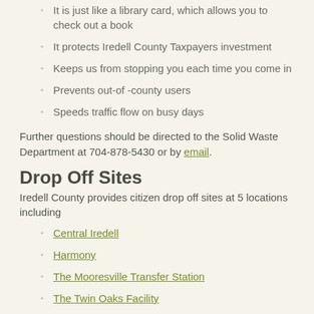It is just like a library card, which allows you to check out a book
It protects Iredell County Taxpayers investment
Keeps us from stopping you each time you come in
Prevents out-of -county users
Speeds traffic flow on busy days
Further questions should be directed to the Solid Waste Department at 704-878-5430 or by email.
Drop Off Sites
Iredell County provides citizen drop off sites at 5 locations including
Central Iredell
Harmony
The Mooresville Transfer Station
The Twin Oaks Facility
West Iredell